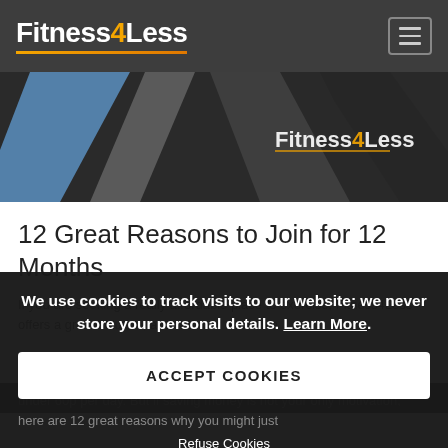Fitness4Less
[Figure (illustration): Fitness4Less hero banner with diagonal geometric shapes in blue, grey and dark grey, with Fitness4Less logo watermark on the right side]
12 Great Reasons to Join for 12 Months
If you are seeking a really affordable place to exercise, Fitness4Less offers a great solution, and with our exclusive
We use cookies to track visits to our website; we never store your personal details. Learn More.
ACCEPT COOKIES
under 60p per day. But if saving money is not your only motivation, here are 12 great reasons why you might just
Refuse Cookies